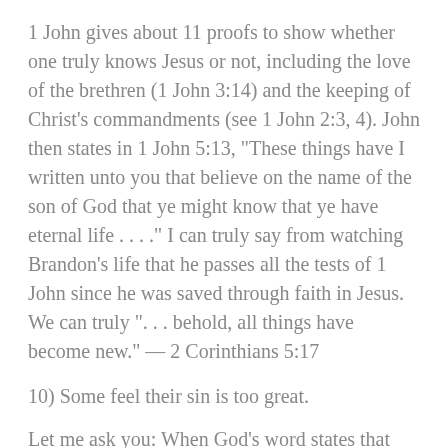1 John gives about 11 proofs to show whether one truly knows Jesus or not, including the love of the brethren (1 John 3:14) and the keeping of Christ's commandments (see 1 John 2:3, 4). John then states in 1 John 5:13, "These things have I written unto you that believe on the name of the son of God that ye might know that ye have eternal life . . . ." I can truly say from watching Brandon's life that he passes all the tests of 1 John since he was saved through faith in Jesus. We can truly ". . . behold, all things have become new." — 2 Corinthians 5:17
10) Some feel their sin is too great.
Let me ask you: When God's word states that Jesus ". . . tasted death for every man," what does every mean?
It means Jesus died for the gays and murderers and